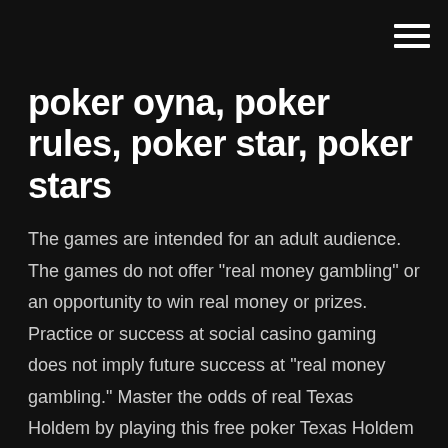poker oyna, poker rules, poker star, poker stars
The games are intended for an adult audience. The games do not offer "real money gambling" or an opportunity to win real money or prizes. Practice or success at social casino gaming does not imply future success at "real money gambling." Master the odds of real Texas Holdem by playing this free poker Texas Holdem game. Watch your skills improve as your high score shoots up with each free poker game. Each AI opponent has his own unique personality--just like real people--so you can figure out all the little quirks involved in playing real texas holdem poker Download this game from Microsoft Store for Windows 10, Windows 8.1. See screenshots, read the latest customer